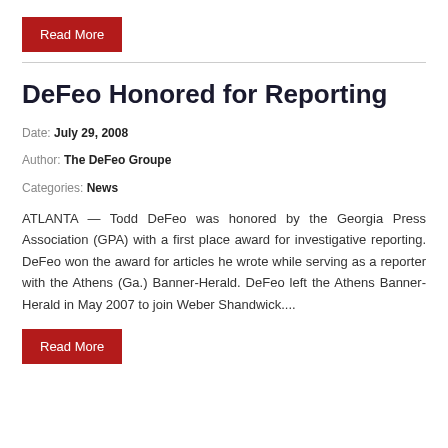Read More
DeFeo Honored for Reporting
Date: July 29, 2008
Author: The DeFeo Groupe
Categories: News
ATLANTA — Todd DeFeo was honored by the Georgia Press Association (GPA) with a first place award for investigative reporting. DeFeo won the award for articles he wrote while serving as a reporter with the Athens (Ga.) Banner-Herald. DeFeo left the Athens Banner-Herald in May 2007 to join Weber Shandwick....
Read More